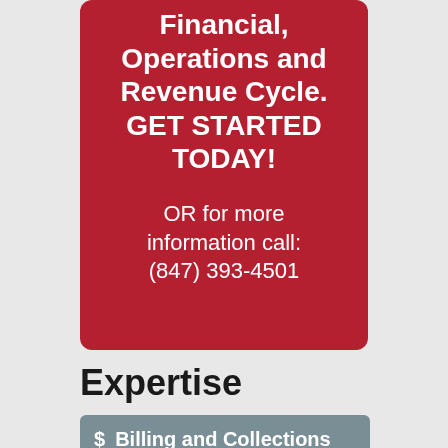Financial, Operations and Revenue Cycle. GET STARTED TODAY!
OR for more information call: (847) 393-4501
Expertise
$ Billing and Collections